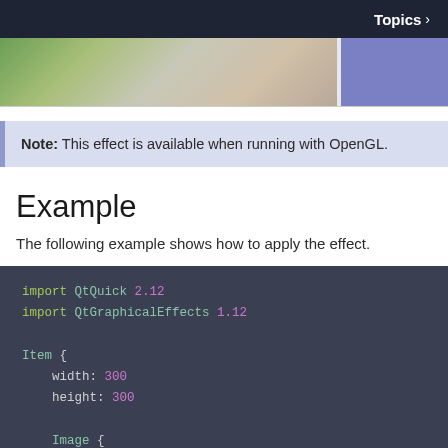Topics >
[Figure (photo): Partial photo strip showing a plant/nature image on the left and a purple/blue rectangle on the right]
Note: This effect is available when running with OpenGL.
Example
The following example shows how to apply the effect.
import QtQuick 2.12
import QtGraphicalEffects 1.12

Item {
    width: 300
    height: 300

    Image {
        id: bug
        source: "images/bug.png"